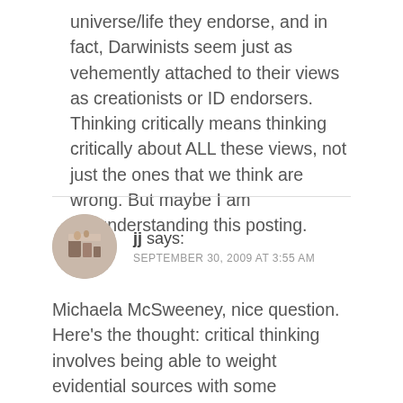universe/life they endorse, and in fact, Darwinists seem just as vehemently attached to their views as creationists or ID endorsers. Thinking critically means thinking critically about ALL these views, not just the ones that we think are wrong. But maybe I am misunderstanding this posting.
jj says:
SEPTEMBER 30, 2009 AT 3:55 AM
Michaela McSweeney, nice question. Here's the thought: critical thinking involves being able to weight evidential sources with some accuracy. But someone who is taught that scientific evidence is not really very reliable has a huge handicap in evaluating sources for evidence.